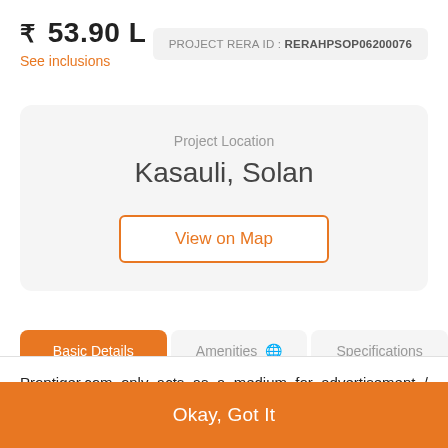₹ 53.90 L
See inclusions
PROJECT RERA ID : RERAHPSOP06200076
Project Location
Kasauli, Solan
View on Map
Basic Details
Amenities
Specifications
Proptiger.com only acts as a medium for advertisement / information content. We do not in any way facilitate and cannot be deemed to be facilitating any transaction between seller / devel... Read More
Okay, Got It